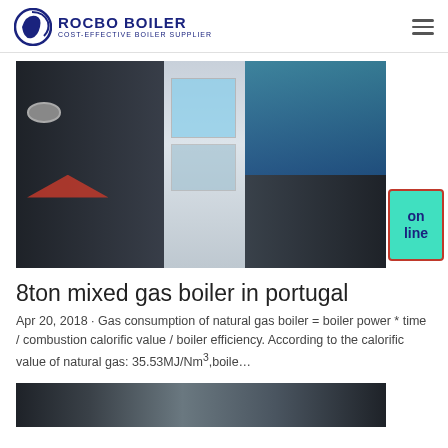ROCBO BOILER — COST-EFFECTIVE BOILER SUPPLIER
[Figure (photo): Industrial gas boilers inside a boiler room facility, showing two large cylindrical boiler tanks with piping and equipment]
8ton mixed gas boiler in portugal
Apr 20, 2018 · Gas consumption of natural gas boiler = boiler power * time / combustion calorific value / boiler efficiency. According to the calorific value of natural gas: 35.53MJ/Nm³,boile…
[Figure (photo): Bottom partial view of another industrial boiler or related equipment]